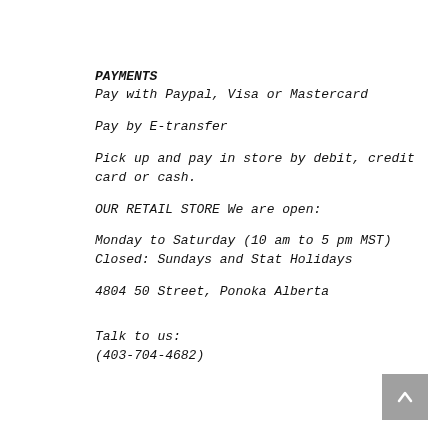PAYMENTS
Pay with Paypal, Visa or Mastercard
Pay by E-transfer
Pick up and pay in store by debit, credit card or cash.
OUR RETAIL STORE We are open:
Monday to Saturday (10 am to 5 pm MST)
Closed: Sundays and Stat Holidays
4804 50 Street, Ponoka Alberta
Talk to us:
(403-704-4682)